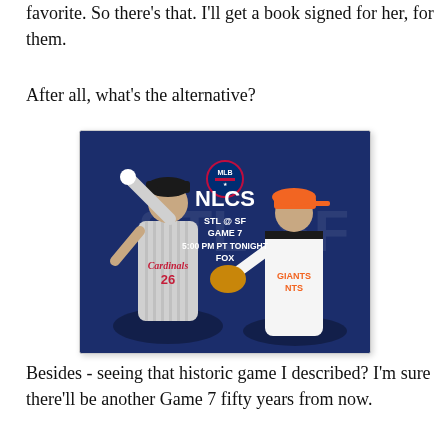favorite.  So there's that.  I'll get a book signed for her, for them.
After all, what's the alternative?
[Figure (photo): NLCS promotional graphic showing two baseball pitchers — a Cardinals player (#26) on the left in away gray uniform and a Giants player on the right in home white uniform — against a dark blue background with the MLB NLCS logo and text: STL @ SF / GAME 7 / 5:00 PM PT TONIGHT / FOX]
Besides - seeing that historic game I described?  I'm sure there'll be another Game 7 fifty years from now.
Right?